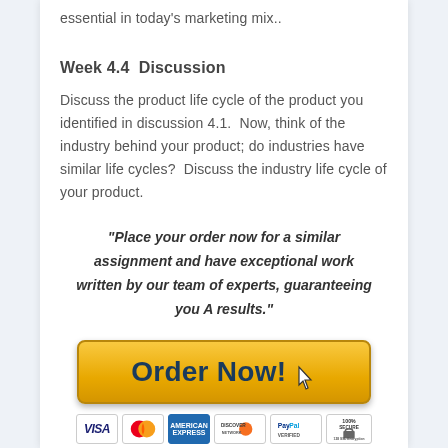essential in today's marketing mix..
Week 4.4  Discussion
Discuss the product life cycle of the product you identified in discussion 4.1.  Now, think of the industry behind your product; do industries have similar life cycles?  Discuss the industry life cycle of your product.
"Place your order now for a similar assignment and have exceptional work written by our team of experts, guaranteeing you A results."
[Figure (other): Orange 'Order Now!' button with cursor icon and payment method icons (VISA, MasterCard, American Express, Discover, PayPal, 100% Secure SSL Encryption)]